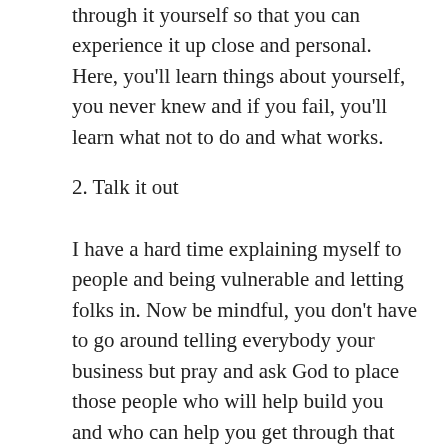through it yourself so that you can experience it up close and personal. Here, you'll learn things about yourself, you never knew and if you fail, you'll learn what not to do and what works.
2. Talk it out
I have a hard time explaining myself to people and being vulnerable and letting folks in. Now be mindful, you don't have to go around telling everybody your business but pray and ask God to place those people who will help build you and who can help you get through that you're going through. God has blessed me with some amazing friends whom I've adopted as family. Yesterday, for example, I felt so defeated and I felt like I was completed stuck in neutral. I happen to be texting one of my good friends and was telling him about how I was